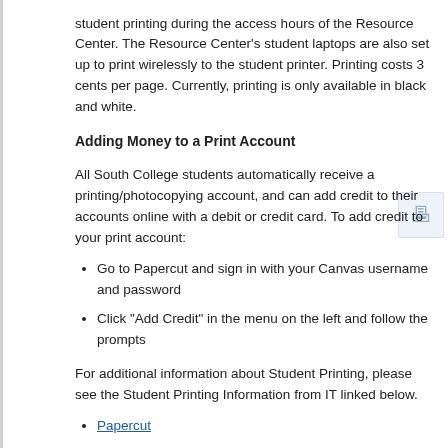student printing during the access hours of the Resource Center. The Resource Center's student laptops are also set up to print wirelessly to the student printer. Printing costs 3 cents per page. Currently, printing is only available in black and white.
Adding Money to a Print Account
All South College students automatically receive a printing/photocopying account, and can add credit to their accounts online with a debit or credit card. To add credit to your print account:
Go to Papercut and sign in with your Canvas username and password
Click "Add Credit" in the menu on the left and follow the prompts
For additional information about Student Printing, please see the Student Printing Information from IT linked below.
Papercut
Student Printing Information from IT
Scroll down; the printing information is after the Student Computer Resources section.